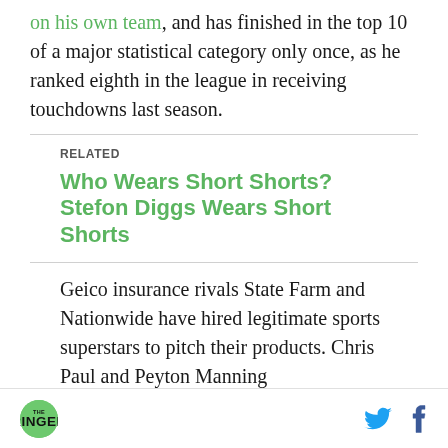on his own team, and has finished in the top 10 of a major statistical category only once, as he ranked eighth in the league in receiving touchdowns last season.
RELATED
Who Wears Short Shorts? Stefon Diggs Wears Short Shorts
Geico insurance rivals State Farm and Nationwide have hired legitimate sports superstars to pitch their products. Chris Paul and Peyton Manning
THE RINGER